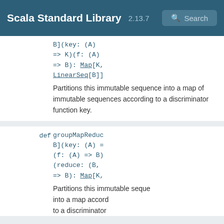Scala Standard Library 2.13.7 Search
B](key: (A) => K)(f: (A) => B): Map[K, LinearSeq[B]]
Partitions this immutable sequence into a map of immutable sequences according to a discriminator function key.
def groupMapReduc B](key: (A) = (f: (A) => B) (reduce: (B, => B): Map[K,
Partitions this immutable sequence into a map according to a discriminator